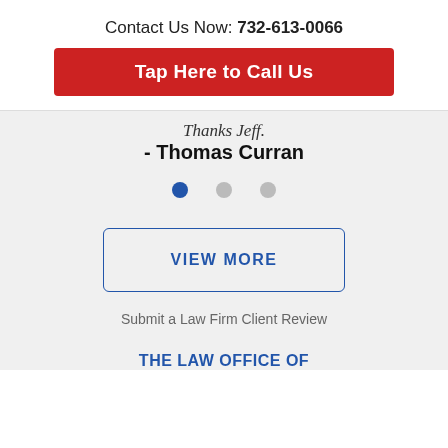Contact Us Now: 732-613-0066
[Figure (other): Red call-to-action button: Tap Here to Call Us]
Thanks Jeff.
- Thomas Curran
[Figure (other): Carousel pagination dots: one active blue dot and two inactive gray dots]
[Figure (other): VIEW MORE button with blue border and blue text]
Submit a Law Firm Client Review
THE LAW OFFICE OF